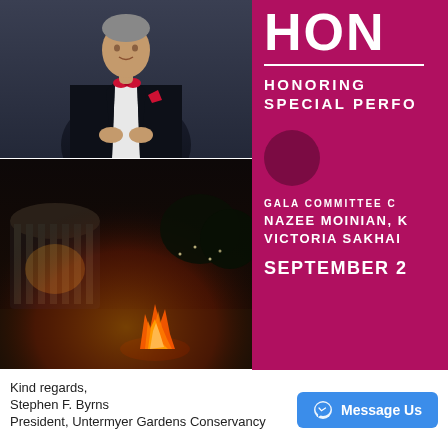[Figure (photo): Man in black tuxedo with red bow tie and red pocket square, facing camera with hands clasped]
[Figure (photo): Nighttime outdoor scene with a classical rotunda/gazebo structure illuminated at left and a large bonfire in the foreground, likely Untermyer Gardens]
HON
HONORING
SPECIAL PERFO
GALA COMMITTEE C
NAZEE MOINIAN, K
VICTORIA SAKHAI
SEPTEMBER 2
Kind regards,
Stephen F. Byrns
President, Untermyer Gardens Conservancy
[Figure (screenshot): Facebook Messenger 'Message Us' button in blue]